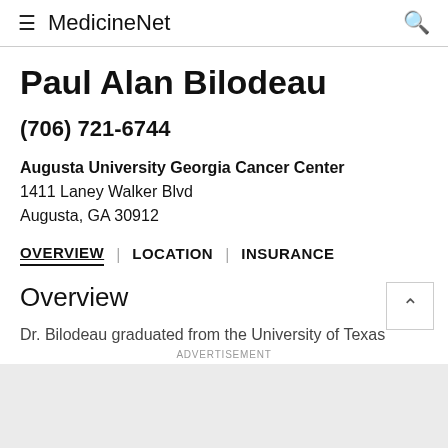MedicinNet
Paul Alan Bilodeau
(706) 721-6744
Augusta University Georgia Cancer Center
1411 Laney Walker Blvd
Augusta, GA 30912
OVERVIEW | LOCATION | INSURANCE
Overview
Dr. Bilodeau graduated from the University of Texas